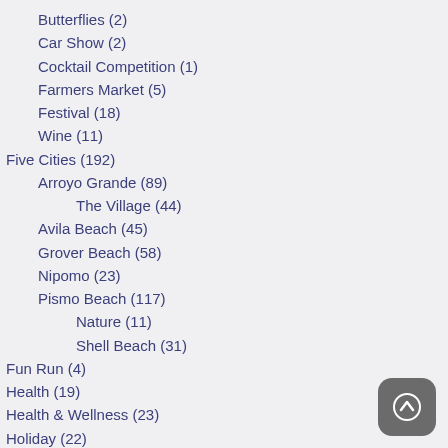Butterflies (2)
Car Show (2)
Cocktail Competition (1)
Farmers Market (5)
Festival (18)
Wine (11)
Five Cities (192)
Arroyo Grande (89)
The Village (44)
Avila Beach (45)
Grover Beach (58)
Nipomo (23)
Pismo Beach (117)
Nature (11)
Shell Beach (31)
Fun Run (4)
Health (19)
Health & Wellness (23)
Holiday (22)
Christmas (7)
Halloween (5)